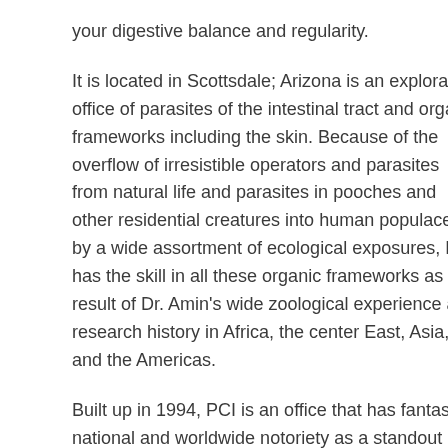your digestive balance and regularity.
It is located in Scottsdale; Arizona is an exploration office of parasites of the intestinal tract and organ frameworks including the skin. Because of the overflow of irresistible operators and parasites from natural life and parasites in pooches and other residential creatures into human populaces by a wide assortment of ecological exposures, PCI has the skill in all these organic frameworks as a result of Dr. Amin's wide zoological experience and research history in Africa, the center East, Asia, and the Americas.
Built up in 1994, PCI is an office that has fantastic national and worldwide notoriety as a standout amongst the best, if not the best, parasitology lab in the nation. They work with several experts, a considerable lot of whom are elective wellbeing